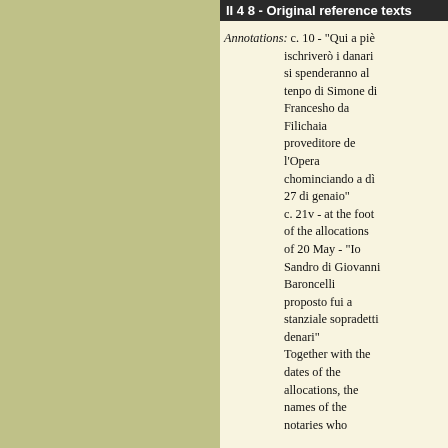II 4 8 - Original reference texts
Annotations: c. 10 - "Qui a piè ischriverò i danari si spenderanno al tenpo di Simone di Francesho da Filichaia proveditore de l'Opera chominciando a dì 27 di genaio" c. 21v - at the foot of the allocations of 20 May - "Io Sandro di Giovanni Baroncelli proposto fui a stanziale sopradetti denari" Together with the dates of the allocations, the names of the notaries who